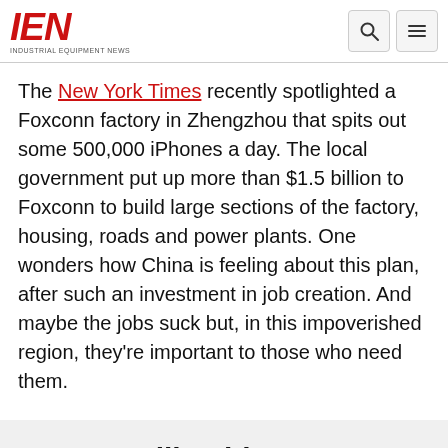IEN — INDUSTRIAL EQUIPMENT NEWS
The New York Times recently spotlighted a Foxconn factory in Zhengzhou that spits out some 500,000 iPhones a day. The local government put up more than $1.5 billion to Foxconn to build large sections of the factory, housing, roads and power plants. One wonders how China is feeling about this plan, after such an investment in job creation. And maybe the jobs suck but, in this impoverished region, they're important to those who need them.
Do you like this content?
Subscribe to our newsletters to receive the latest information